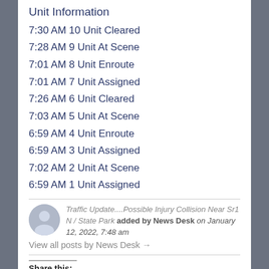Unit Information
7:30 AM 10 Unit Cleared
7:28 AM 9 Unit At Scene
7:01 AM 8 Unit Enroute
7:01 AM 7 Unit Assigned
7:26 AM 6 Unit Cleared
7:03 AM 5 Unit At Scene
6:59 AM 4 Unit Enroute
6:59 AM 3 Unit Assigned
7:02 AM 2 Unit At Scene
6:59 AM 1 Unit Assigned
Traffic Update....Possible Injury Collision Near Sr1 N / State Park added by News Desk on January 12, 2022, 7:48 am
View all posts by News Desk →
Share this: